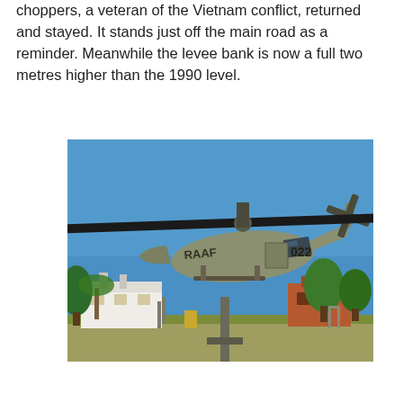choppers, a veteran of the Vietnam conflict, returned and stayed. It stands just off the main road as a reminder. Meanwhile the levee bank is now a full two metres higher than the 1990 level.
[Figure (photo): A military green RAAF helicopter (marked '022') displayed on a pole outdoors in what appears to be an Australian country town, with buildings and trees visible in the background under a clear blue sky.]